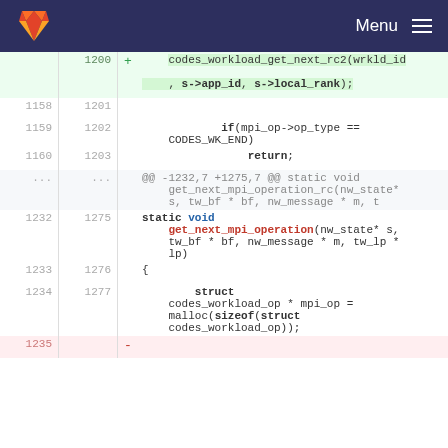GitLab — Menu
[Figure (screenshot): GitLab diff view showing code changes in a C file. Lines 1200-1235 of a diff, including added line with codes_workload_get_next_rc2, modifications to get_next_mpi_operation function signature, and a removed line at 1235.]